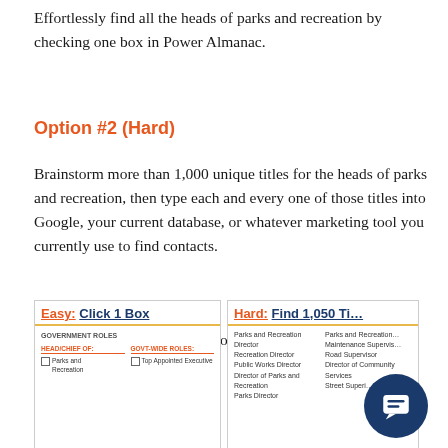Effortlessly find all the heads of parks and recreation by checking one box in Power Almanac.
Option #2 (Hard)
Brainstorm more than 1,000 unique titles for the heads of parks and recreation, then type each and every one of those titles into Google, your current database, or whatever marketing tool you currently use to find contacts.
(Do you have the time and resources for that?)
[Figure (screenshot): Two side-by-side panels comparing Easy: Click 1 Box vs Hard: Find 1,050 Titles approaches, showing a government roles checkbox interface on the left and a list of park/recreation titles on the right.]